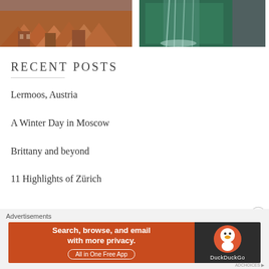[Figure (photo): Aerial view of terracotta rooftops of a European town]
[Figure (photo): Waterfall cascading in front of a green wall]
RECENT POSTS
Lermoos, Austria
A Winter Day in Moscow
Brittany and beyond
11 Highlights of Zürich
[Figure (infographic): DuckDuckGo advertisement banner: Search, browse, and email with more privacy. All in One Free App]